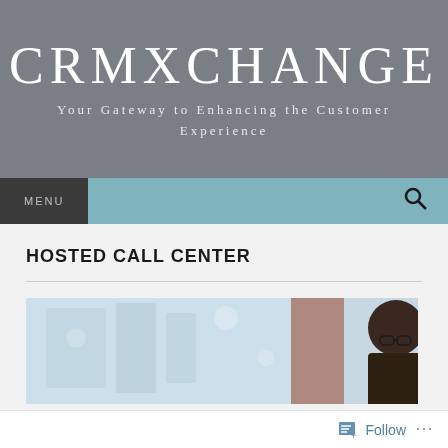CRMXCHANGE
Your Gateway to Enhancing the Customer Experience
HOSTED CALL CENTER
[Figure (photo): A woman wearing glasses looking down, in an office/call center environment with a blurred background]
Follow ...